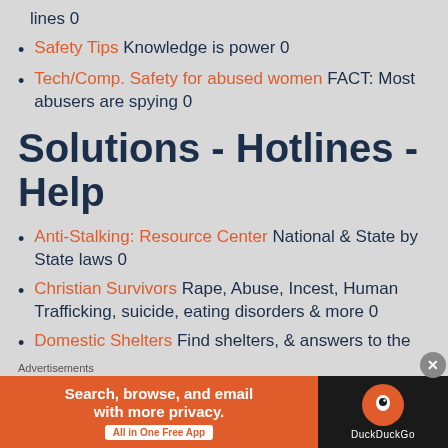lines 0
Safety Tips Knowledge is power 0
Tech/Comp. Safety for abused women FACT: Most abusers are spying 0
Solutions - Hotlines - Help
Anti-Stalking: Resource Center National & State by State laws 0
Christian Survivors Rape, Abuse, Incest, Human Trafficking, suicide, eating disorders & more 0
Domestic Shelters Find shelters, & answers to the
Advertisements
[Figure (screenshot): DuckDuckGo advertisement banner: orange left section with text 'Search, browse, and email with more privacy. All in One Free App', black right section with DuckDuckGo logo]